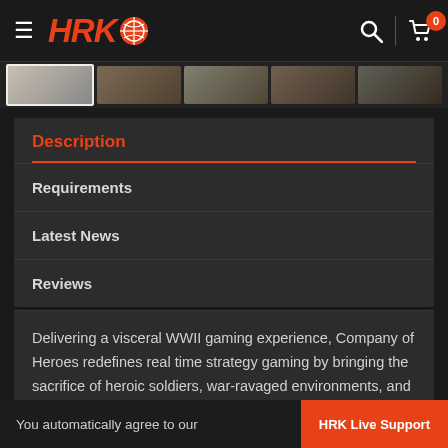[Figure (screenshot): HRK Game store website header with logo, hamburger menu, search icon, and cart with badge showing 0]
[Figure (screenshot): Thumbnail image strip showing 5 game screenshots]
Description
Requirements
Latest News
Reviews
Delivering a visceral WWII gaming experience, Company of Heroes redefines real time strategy gaming by bringing the sacrifice of heroic soldiers, war-ravaged environments, and dynamic battlefields to life.
Beginning with the D-Day Invasion of Normandy, players lead squads of Allied soldiers and
You automatically agree to our
terms and conditions by
HRK Live Support